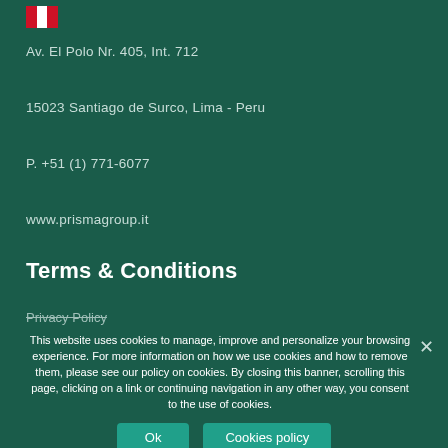[Figure (logo): Red and white flag icon (Peru flag)]
Av. El Polo Nr. 405, Int. 712
15023 Santiago de Surco, Lima - Peru
P. +51 (1) 771-6077
www.prismagroup.it
Terms & Conditions
Privacy Policy
This website uses cookies to manage, improve and personalize your browsing experience. For more information on how we use cookies and how to remove them, please see our policy on cookies. By closing this banner, scrolling this page, clicking on a link or continuing navigation in any other way, you consent to the use of cookies.
Ok
Cookies policy